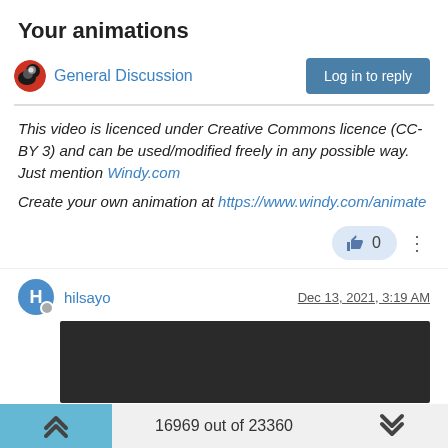Your animations
General Discussion
Log in to reply
This video is licenced under Creative Commons licence (CC-BY 3) and can be used/modified freely in any possible way. Just mention Windy.com

Create your own animation at https://www.windy.com/animate
[Figure (screenshot): Like button showing thumbs up icon and count 0, with a three-dot more menu button]
hilsayo   Dec 13, 2021, 3:19 AM
[Figure (photo): Dark/black video thumbnail image]
16969 out of 23360